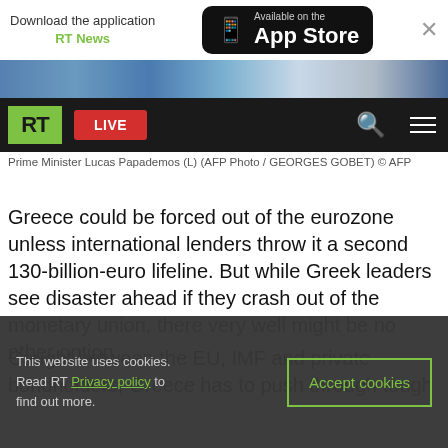[Figure (screenshot): App download banner with RT News text, Available on the App Store button, and close X button]
[Figure (screenshot): RT navigation bar with green RT logo, red LIVE button, search icon, and hamburger menu]
Prime Minister Lucas Papademos (L) (AFP Photo / GEORGES GOBET) © AFP
Greece could be forced out of the eurozone unless international lenders throw it a second 130-billion-euro lifeline. But while Greek leaders see disaster ahead if they crash out of the monetary union, there very well might be no other option.
Caught between the EU, IMF and private bondholders, Greece has to push through tough
This website uses cookies. Read RT Privacy policy to find out more.
Accept cookies